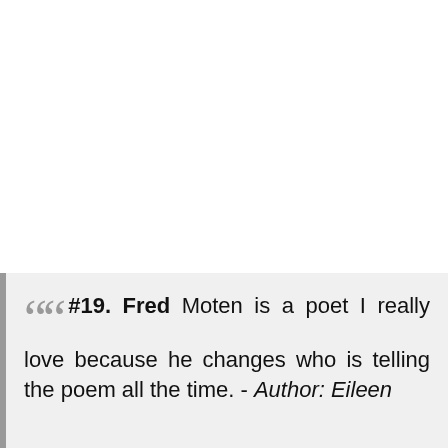#19. Fred Moten is a poet I really love because he changes who is telling the poem all the time. - Author: Eileen M...